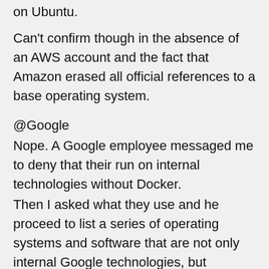on Ubuntu.
Can't confirm though in the absence of an AWS account and the fact that Amazon erased all official references to a base operating system.
@Google
Nope. A Google employee messaged me to deny that their run on internal technologies without Docker.
Then I asked what they use and he proceed to list a series of operating systems and software that are not only internal Google technologies, but purposefully NOT packaged for use by the rest of the world (that should use CoreOS) by his own world.